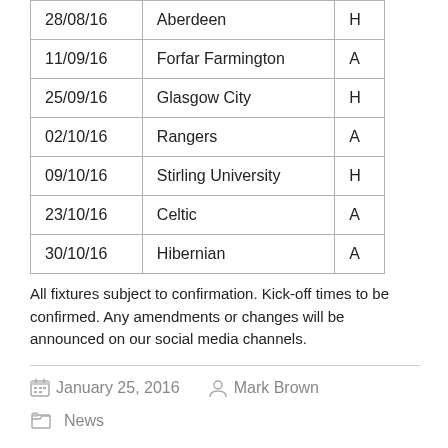| 28/08/16 | Aberdeen | H |
| 11/09/16 | Forfar Farmington | A |
| 25/09/16 | Glasgow City | H |
| 02/10/16 | Rangers | A |
| 09/10/16 | Stirling University | H |
| 23/10/16 | Celtic | A |
| 30/10/16 | Hibernian | A |
All fixtures subject to confirmation. Kick-off times to be confirmed. Any amendments or changes will be announced on our social media channels.
January 25, 2016   Mark Brown
News
Shepherd signs seven ahead of 2016 SWPL season